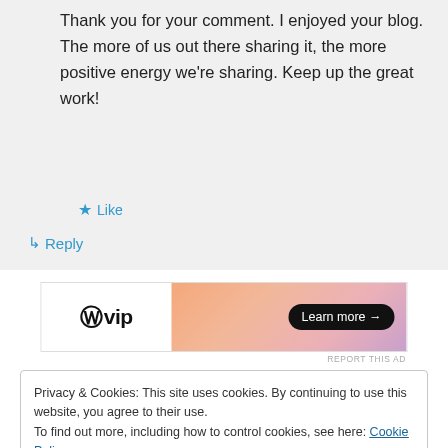Thank you for your comment. I enjoyed your blog. The more of us out there sharing it, the more positive energy we’re sharing. Keep up the great work!
★ Like
↳ Reply
[Figure (other): WordPress VIP advertisement banner with logo on left and gradient background with 'Learn more →' button on right]
REPORT THIS AD
Privacy & Cookies: This site uses cookies. By continuing to use this website, you agree to their use.
To find out more, including how to control cookies, see here: Cookie Policy
Close and accept